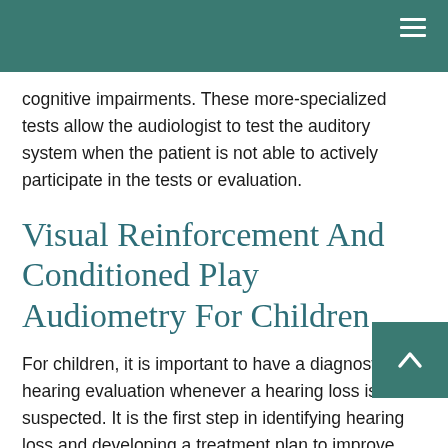cognitive impairments. These more-specialized tests allow the audiologist to test the auditory system when the patient is not able to actively participate in the tests or evaluation.
Visual Reinforcement And Conditioned Play Audiometry For Children
For children, it is important to have a diagnostic hearing evaluation whenever a hearing loss is suspected. It is the first step in identifying hearing loss and developing a treatment plan to improve academic and social s...s.
Along with the evaluation, you should generally expect